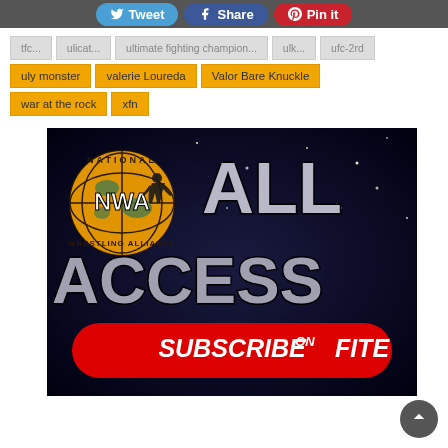Tweet | Share | Pin it
uly monster
valerie Loureda
Valor Bare Knuckle
war at the rock
xfn
[Figure (illustration): NWA All Access – Subscribe on FITE promotional banner. Black starry background with NWA National Wrestling Alliance logo on the left, large text 'ALL ACCESS' and a red rounded rectangle button reading 'SUBSCRIBE on FITE'.]